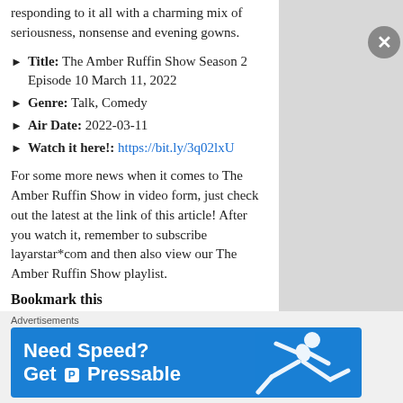responding to it all with a charming mix of seriousness, nonsense and evening gowns.
► Title: The Amber Ruffin Show Season 2 Episode 10 March 11, 2022
► Genre: Talk, Comedy
► Air Date: 2022-03-11
► Watch it here!: https://bit.ly/3q02lxU
For some more news when it comes to The Amber Ruffin Show in video form, just check out the latest at the link of this article! After you watch it, remember to subscribe layarstar*com and then also view our The Amber Ruffin Show playlist.
Bookmark this
Find out how you can download and watch your favorite The Amber Ruffin Show Season 2 Episode 10 “The Prophet” at a time that suits you. Bookmark this page.
Advertisements
[Figure (illustration): Blue advertisement banner reading 'Need Speed? Get Pressable' with a figure of a person running/flying on the right side]